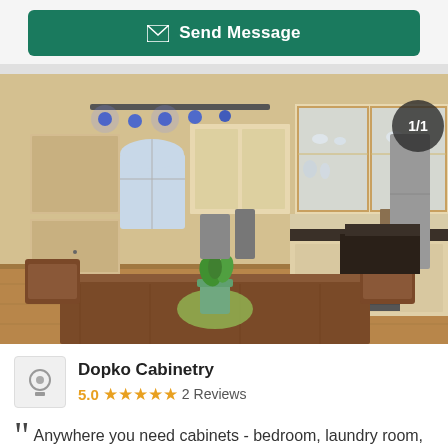[Figure (other): Send Message button with envelope icon on teal/green background]
[Figure (photo): Kitchen interior showing light wood cabinetry with glass-front upper cabinets, dark countertops, track lighting with blue lights, and a dining table with chairs in the foreground with a potted plant. Badge showing 1/1 in top right corner.]
Dopko Cabinetry
5.0 ★★★★★ 2 Reviews
Anywhere you need cabinets - bedroom, laundry room, living room, kitchen and bath, you will get the best